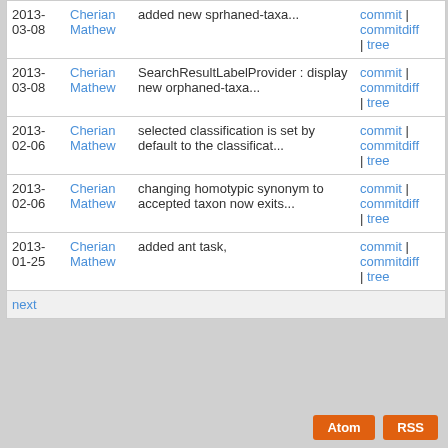| Date | Author | Message | Links |
| --- | --- | --- | --- |
| 2013-03-08 | Cherian Mathew | added new sprhaned-taxa... | commit | commitdiff | tree |
| 2013-03-08 | Cherian Mathew | SearchResultLabelProvider : display new orphaned-taxa... | commit | commitdiff | tree |
| 2013-02-06 | Cherian Mathew | selected classification is set by default to the classificat... | commit | commitdiff | tree |
| 2013-02-06 | Cherian Mathew | changing homotypic synonym to accepted taxon now exits... | commit | commitdiff | tree |
| 2013-01-25 | Cherian Mathew | added ant task, | commit | commitdiff | tree |
next
Atom
RSS